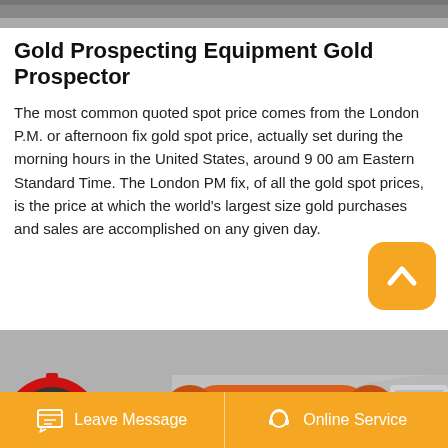[Figure (photo): Partial top image strip showing grey industrial background]
Gold Prospecting Equipment Gold Prospector
The most common quoted spot price comes from the London P.M. or afternoon fix gold spot price, actually set during the morning hours in the United States, around 9 00 am Eastern Standard Time. The London PM fix, of all the gold spot prices, is the price at which the world's largest size gold purchases and sales are accomplished on any given day.
[Figure (photo): Industrial gold prospecting equipment with orange and grey cylindrical drums and red gear wheel]
[Figure (other): Orange rounded square button with white upward chevron arrow icon]
Leave Message
Online Service